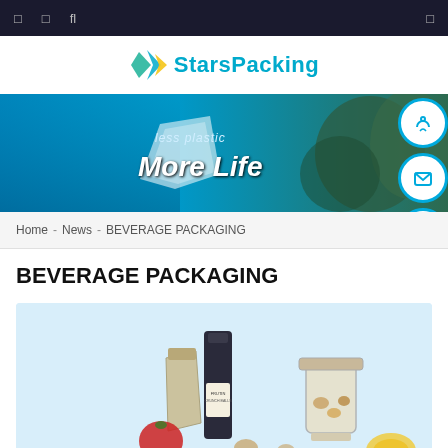Navigation bar icons
[Figure (logo): StarsPacking logo with teal star/arrow icon and blue text]
[Figure (photo): Hero banner: underwater ocean scene with plastic bag and text 'less plastic More Life']
Home - News - BEVERAGE PACKAGING
BEVERAGE PACKAGING
[Figure (photo): Product photo on light blue background showing packaging products including a tall dark tube, small snack pouches, glass jar with nuts, tomato, and other food items]